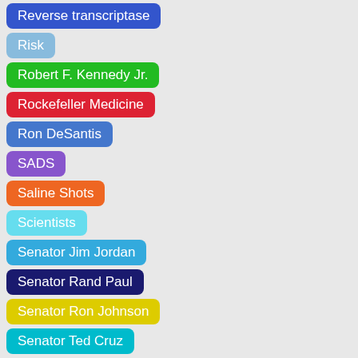Reverse transcriptase
Risk
Robert F. Kennedy Jr.
Rockefeller Medicine
Ron DeSantis
SADS
Saline Shots
Scientists
Senator Jim Jordan
Senator Rand Paul
Senator Ron Johnson
Senator Ted Cruz
Shedding
Smallpox vaccine
Social Distancing
Spanish Flu 1918
Spike Protein
Statistics